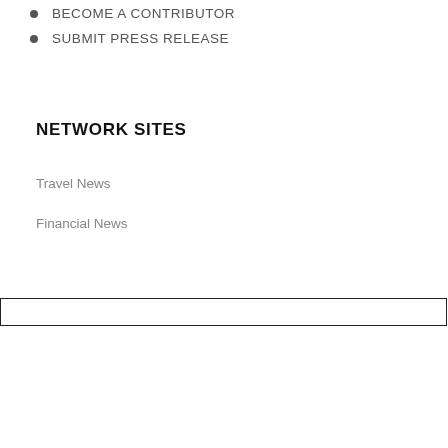BECOME A CONTRIBUTOR
SUBMIT PRESS RELEASE
NETWORK SITES
Travel News
Financial News